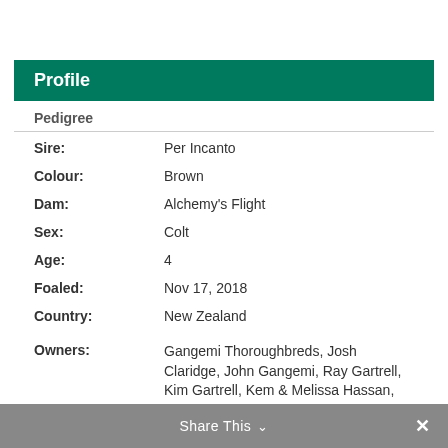Profile
Pedigree
Sire: Per Incanto
Colour: Brown
Dam: Alchemy's Flight
Sex: Colt
Age: 4
Foaled: Nov 17, 2018
Country: New Zealand
Owners: Gangemi Thoroughbreds, Josh Claridge, John Gangemi, Ray Gartrell, Kim Gartrell, Kem & Melissa Hassan,
Share This